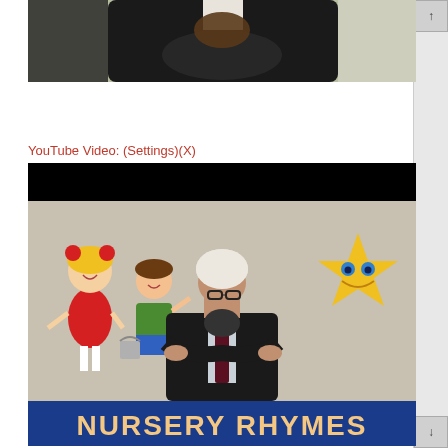[Figure (photo): Top portion of a video screenshot showing a person in a dark suit holding something, green background, partially visible]
YouTube Video: (Settings)(X)
[Figure (screenshot): YouTube video thumbnail showing a man in a white kufi cap, glasses, dark suit with tie, arms crossed, with cartoon children characters on the left and a cartoon star on the right, and a blue banner at the bottom reading NURSERY RHYMES]